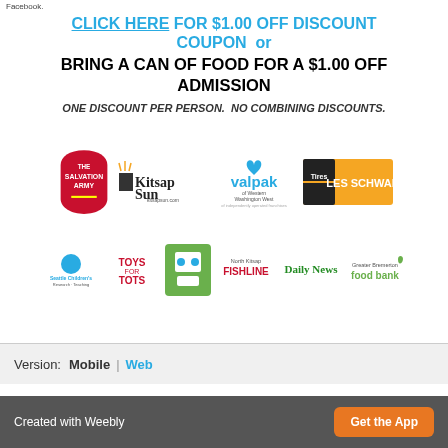Facebook.
CLICK HERE FOR $1.00 OFF DISCOUNT COUPON  or  BRING A CAN OF FOOD FOR A $1.00 OFF ADMISSION
ONE DISCOUNT PER PERSON.  NO COMBINING DISCOUNTS.
[Figure (logo): Sponsor logos row 1: The Salvation Army, Kitsap Sun, Valpak of Western Washington West, Les Schwab Tires]
[Figure (logo): Sponsor logos row 2: Seattle Children's, Toys for Tots, illustrated box character, North Kitsap FISHLINE, Daily News, Greater Bremerton food bank]
Version:  Mobile | Web
Created with Weebly   Get the App